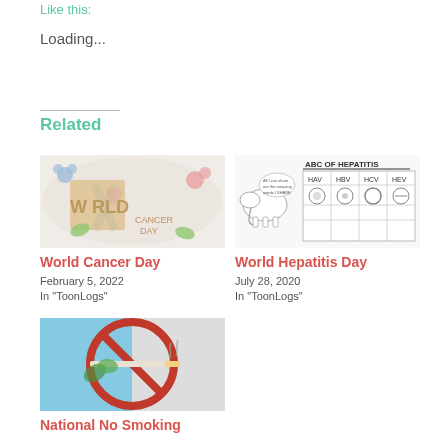Like this:
Loading...
Related
[Figure (illustration): World Cancer Day watercolor illustration with colorful flowers and ribbon spelling 'WORLD CANCER DAY']
World Cancer Day
February 5, 2022
In "ToonLogs"
[Figure (illustration): World Hepatitis Day hand-drawn diagram showing ABC of Hepatitis with liver cartoon and virus types table]
World Hepatitis Day
July 28, 2020
In "ToonLogs"
[Figure (illustration): National No Smoking Day illustration showing a cigarette inside a red circle with a diagonal line (no smoking symbol) with teal/blue background]
National No Smoking